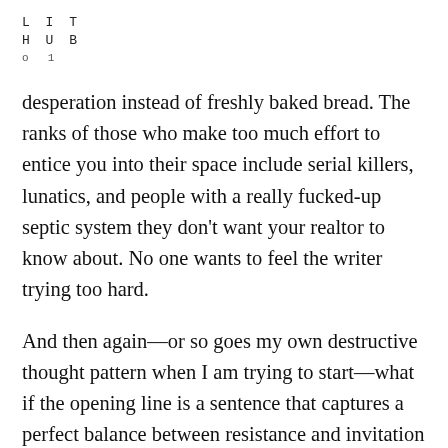L I T
HUB
o 1
desperation instead of freshly baked bread. The ranks of those who make too much effort to entice you into their space include serial killers, lunatics, and people with a really fucked-up septic system they don't want your realtor to know about. No one wants to feel the writer trying too hard.
And then again—or so goes my own destructive thought pattern when I am trying to start—what if the opening line is a sentence that captures a perfect balance between resistance and invitation but, through the pressure of